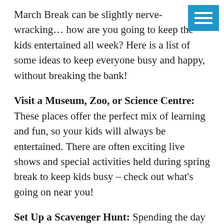[Figure (other): Blue hamburger menu button with three white horizontal lines]
March Break can be slightly nerve-wracking… how are you going to keep the kids entertained all week? Here is a list of some ideas to keep everyone busy and happy, without breaking the bank!
Visit a Museum, Zoo, or Science Centre: These places offer the perfect mix of learning and fun, so your kids will always be entertained. There are often exciting live shows and special activities held during spring break to keep kids busy – check out what's going on near you!
Set Up a Scavenger Hunt: Spending the day at home doesn't have to be boring! Set the kids loose and have them search for various items on